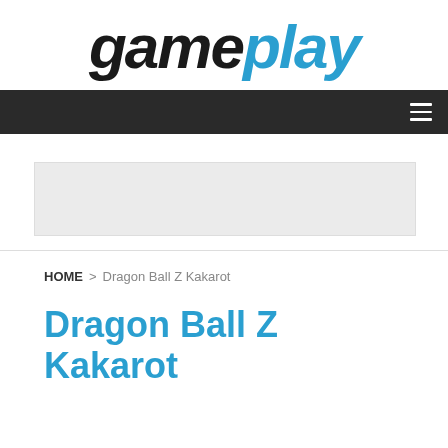gameplay
[Figure (logo): gameplay logo with 'game' in black bold italic and 'play' in blue bold italic]
Navigation bar with hamburger menu icon
[Figure (other): Light grey advertisement banner placeholder]
HOME > Dragon Ball Z Kakarot
Dragon Ball Z Kakarot